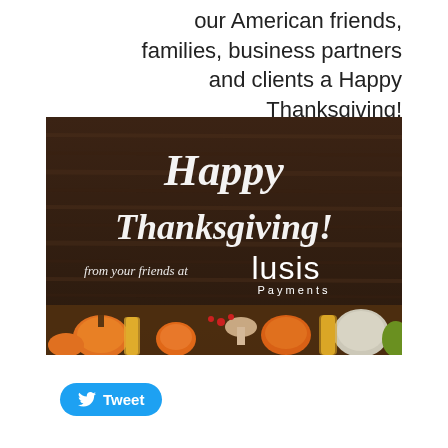our American friends, families, business partners and clients a Happy Thanksgiving!
[Figure (illustration): Happy Thanksgiving greeting image with dark wood plank background. White script text reads 'Happy Thanksgiving!' with 'from your friends at lusis Payments' below. Bottom of image shows an arrangement of autumn harvest produce including pumpkins, corn, mushrooms, gourds, and berries.]
Tweet